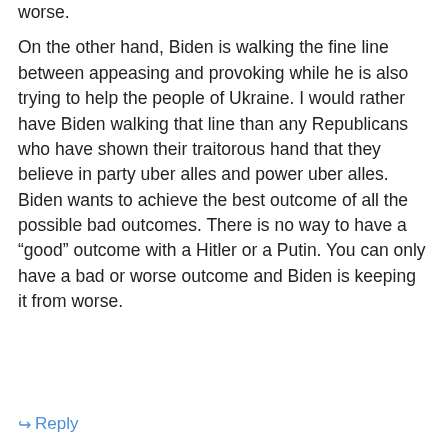worse.
On the other hand, Biden is walking the fine line between appeasing and provoking while he is also trying to help the people of Ukraine. I would rather have Biden walking that line than any Republicans who have shown their traitorous hand that they believe in party uber alles and power uber alles. Biden wants to achieve the best outcome of all the possible bad outcomes. There is no way to have a “good” outcome with a Hitler or a Putin. You can only have a bad or worse outcome and Biden is keeping it from worse.
↪ Reply